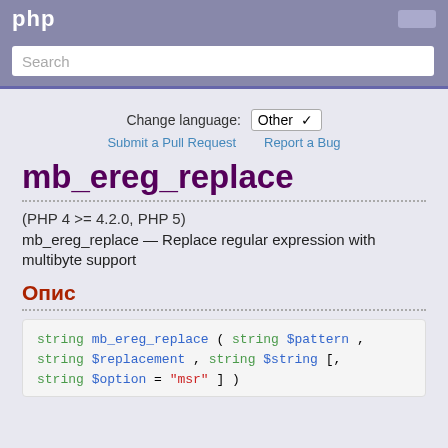php
Search
Change language: Other
Submit a Pull Request    Report a Bug
mb_ereg_replace
(PHP 4 >= 4.2.0, PHP 5)
mb_ereg_replace — Replace regular expression with multibyte support
Опис